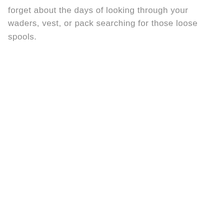forget about the days of looking through your waders, vest, or pack searching for those loose spools.